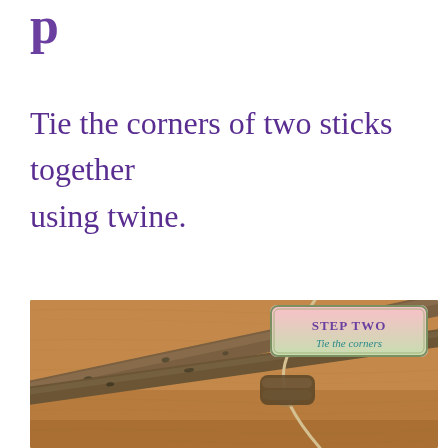p
Tie the corners of two sticks together using twine.
[Figure (photo): Photo of two sticks tied together at one end with twine/rope on a wooden surface. An overlay label reads 'Step Two / Tie the corners' in a decorative vintage-style badge.]